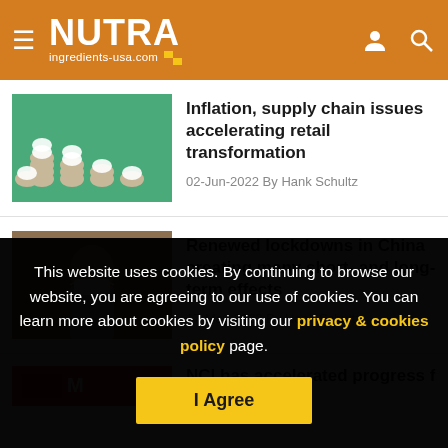NUTRA ingredients-usa.com
Inflation, supply chain issues accelerating retail transformation
02-Jun-2022 By Hank Schultz
Renewed lockdowns in China creating many short- and long-term effects
17-May-2022 By Hank Schultz
This website uses cookies. By continuing to browse our website, you are agreeing to our use of cookies. You can learn more about cookies by visiting our privacy & cookies policy page.